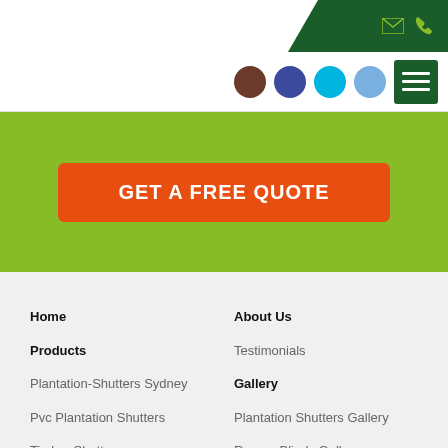[Figure (screenshot): Website header with dark green diagonal banner on right containing email and phone icons]
[Figure (screenshot): Navigation bar with social media circle icons (brown, purple, cyan, blue) and green hamburger menu button]
[Figure (screenshot): Green banner with orange CTA button reading GET A FREE QUOTE]
Home
About Us
Products
Testimonials
Plantation-Shutters Sydney
Gallery
Pvc Plantation Shutters
Plantation Shutters Gallery
Timber Shutters
Roman Blinds Gallery
Blinds Sydney
Venetian Blinds Gallery
Roller Blind
Vertical Blinds Gallery
Roman Blinds Sydney
Commercial Blinds Gallery